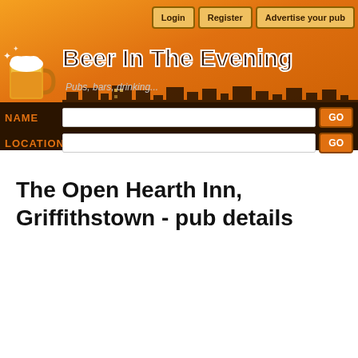[Figure (screenshot): Beer In The Evening website header with orange gradient background, beer mug logo, site title, tagline, navigation buttons (Login, Register, Advertise your pub), city silhouette, and search bars for NAME and LOCATION]
The Open Hearth Inn, Griffithstown - pub details